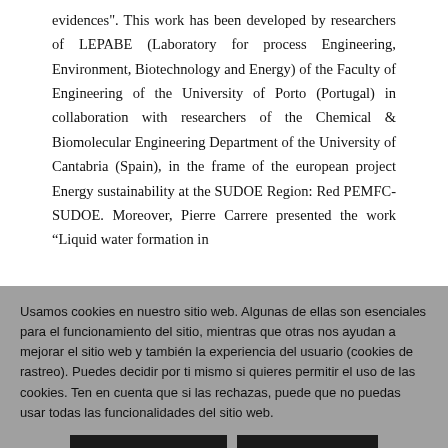evidences". This work has been developed by researchers of LEPABE (Laboratory for process Engineering, Environment, Biotechnology and Energy) of the Faculty of Engineering of the University of Porto (Portugal) in collaboration with researchers of the Chemical & Biomolecular Engineering Department of the University of Cantabria (Spain), in the frame of the european project Energy sustainability at the SUDOE Region: Red PEMFC-SUDOE. Moreover, Pierre Carrere presented the work “Liquid water formation in
Usamos cookies en nuestro sitio web. Algunas de ellas son esenciales para el funcionamiento del sitio, mientras que otras nos ayudan a mejorar el sitio web y también la experiencia del usuario (cookies de rastreo). Puedes decidir por ti mismo si quieres permitir el uso de las cookies. Ten en cuenta que si las rechazas, puede que no puedas usar todas las funcionalidades del sitio web.
DE ACUERDO
RECHAZAR
Más información